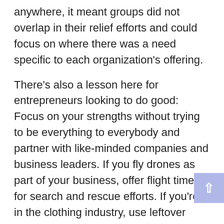anywhere, it meant groups did not overlap in their relief efforts and could focus on where there was a need specific to each organization's offering.
There's also a lesson here for entrepreneurs looking to do good: Focus on your strengths without trying to be everything to everybody and partner with like-minded companies and business leaders. If you fly drones as part of your business, offer flight time for search and rescue efforts. If you're in the clothing industry, use leftover fabric to make blankets or cloth masks to distribute when needed. The key is knowing where to go. Organizations with similar philanthropic goals could set up a shared line of communication much like the Red Cross's Disaster Partner Hub that's mobilized when needed to show who is doing what, and where. See the same need, the same goal and the path to get there — in one collaborative place.